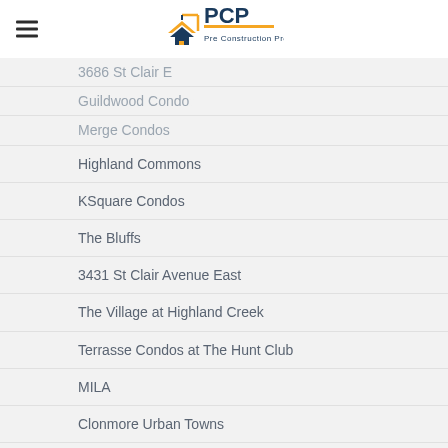Pre Construction Pros (logo)
3686 St Clair E
Guildwood Condos
Merge Condos
Highland Commons
KSquare Condos
The Bluffs
3431 St Clair Avenue East
The Village at Highland Creek
Terrasse Condos at The Hunt Club
MILA
Clonmore Urban Towns
The Garden Series On Sheppard
Brimley Progress
Cowdray Court
The Manderley Condos
Matrix Condos